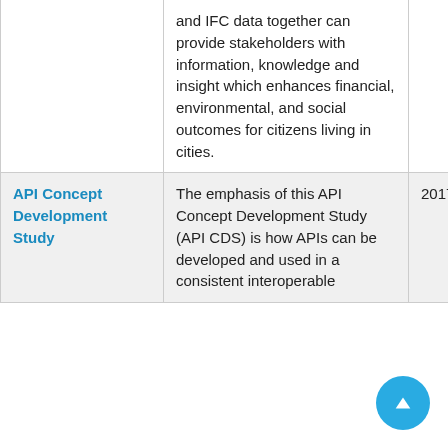|  | Description | Date |
| --- | --- | --- |
|  | and IFC data together can provide stakeholders with information, knowledge and insight which enhances financial, environmental, and social outcomes for citizens living in cities. |  |
| API Concept Development Study | The emphasis of this API Concept Development Study (API CDS) is how APIs can be developed and used in a consistent interoperable | 2017-05-31 |